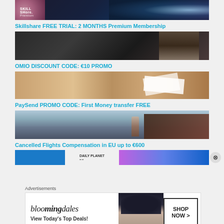[Figure (photo): Skillshare promotional image with dark swirling star trail background and pink flower on left]
Skillshare FREE TRIAL: 2 MONTHS Premium Membership
[Figure (photo): OMIO promotional image showing person from behind near chalkboard]
OMIO DISCOUNT CODE: €10 PROMO
[Figure (photo): PaySend promotional image showing hands with papers/money transfer]
PaySend PROMO CODE: First Money transfer FREE
[Figure (photo): Airport interior with woman standing and seats on right side]
Cancelled Flights Compensation in EU up to €600
[Figure (screenshot): Blue and purple promotional banner strip with close button]
Advertisements
[Figure (screenshot): Bloomingdales advertisement banner: bloomingdales View Today's Top Deals! SHOP NOW >]